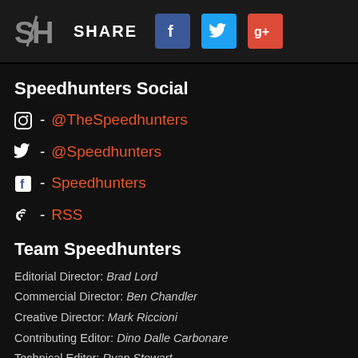SH   SHARE   [Facebook icon]   [Twitter icon]   [Google+ icon]
Speedhunters Social
Instagram - @TheSpeedhunters
Twitter - @Speedhunters
Facebook - Speedhunters
RSS - RSS
Team Speedhunters
Editorial Director: Brad Lord
Commercial Director: Ben Chandler
Creative Director: Mark Riccioni
Contributing Editor: Dino Dalle Carbonare
Technical Editor: Ryan Stewart
Contributors: Will Beaumont, Keiron Berndt, Jordan Butters, Ron Celestine, Mario Christou, Cian Donnellan, Matthew Everingham, Chaydon Ford, Blake Jones, Stefan Kotze, Vladimir Ljadov, Paddy...